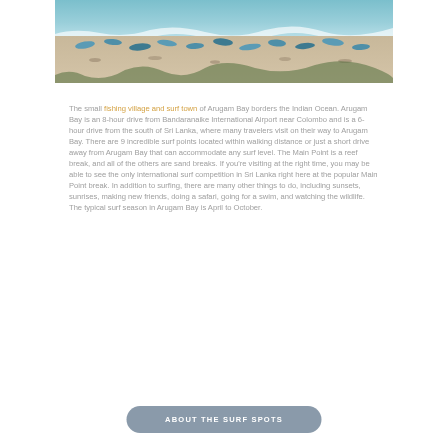[Figure (photo): Aerial view of a beach with surf boats and waves along the shoreline, sandy beach visible from above]
The small fishing village and surf town of Arugam Bay borders the Indian Ocean. Arugam Bay is an 8-hour drive from Bandaranaike International Airport near Colombo and is a 6-hour drive from the south of Sri Lanka, where many travelers visit on their way to Arugam Bay. There are 9 incredible surf points located within walking distance or just a short drive away from Arugam Bay that can accommodate any surf level. The Main Point is a reef break, and all of the others are sand breaks. If you're visiting at the right time, you may be able to see the only international surf competition in Sri Lanka right here at the popular Main Point break. In addition to surfing, there are many other things to do, including sunsets, sunrises, making new friends, doing a safari, going for a swim, and watching the wildlife. The typical surf season in Arugam Bay is April to October.
ABOUT THE SURF SPOTS